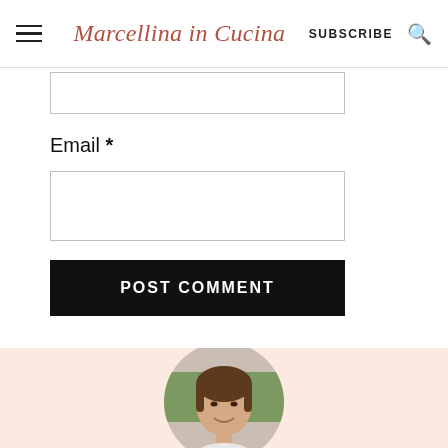Marcellina in Cucina  SUBSCRIBE
Email *
POST COMMENT
[Figure (photo): Author photo: a woman with brown hair smiling, shown in a circular crop, on a pink/peach background banner at the bottom of the page.]